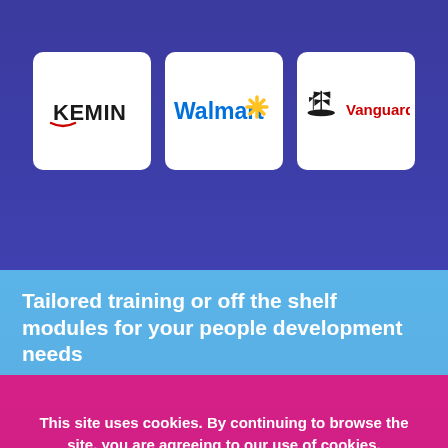[Figure (logo): Kemin logo — company name in black bold letters with a red swoosh accent]
[Figure (logo): Walmart logo — blue text 'Walmart' with blue and yellow spark/asterisk symbol]
[Figure (logo): Vanguard logo — black tall ship illustration with red 'Vanguard' text]
Tailored training or off the shelf modules for your people development needs
This site uses cookies. By continuing to browse the site, you are agreeing to our use of cookies.
Okay >